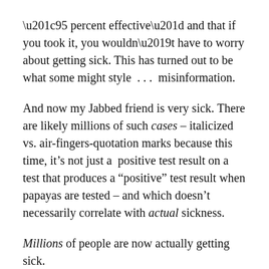“95 percent effective” and that if you took it, you wouldn’t have to worry about getting sick. This has turned out to be what some might style  . . .  misinformation.
And now my Jabbed friend is very sick. There are likely millions of such cases – italicized vs. air-fingers-quotation marks because this time, it’s not just a  positive test result on a test that produces a “positive” test result when papayas are tested – and which doesn’t necessarily correlate with actual sickness.
Millions of people are now actually getting sick.